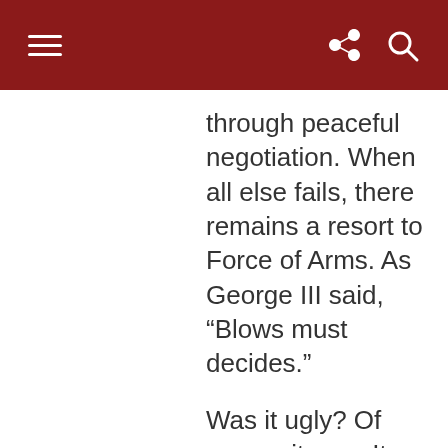through peaceful negotiation. When all else fails, there remains a resort to Force of Arms. As George III said, “Blows must decides.”
Was it ugly? Of course it was. It was war and war has always been ugly. Did some on the Patriot side commit vicious, cruel, atrocious